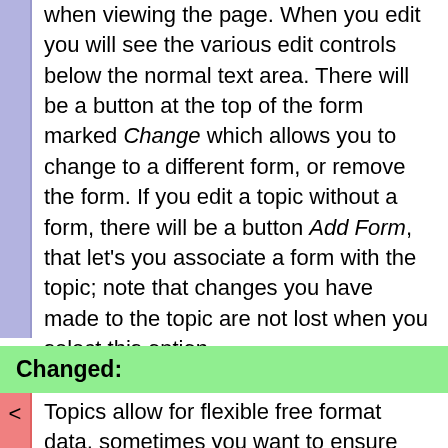when viewing the page. When you edit you will see the various edit controls below the normal text area. There will be a button at the top of the form marked Change which allows you to change to a different form, or remove the form. If you edit a topic without a form, there will be a button Add Form, that let's you associate a form with the topic; note that changes you have made to the topic are not lost when you select this option.
Changed:
< Topics allow for flexible free format data, < sometimes you want to ensure strucutre to some of the topic information, this can be done with Forms e.g. saying what type of topic it is (Bug, Feature, FAQ ...